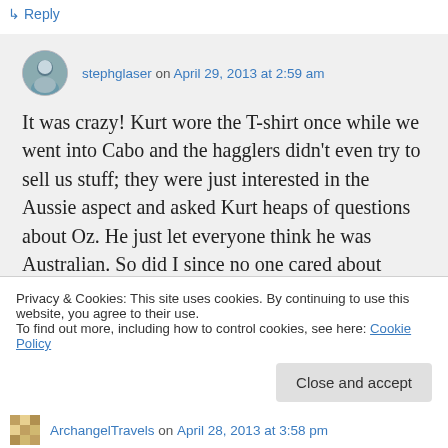↳ Reply
stephglaser on April 29, 2013 at 2:59 am
It was crazy! Kurt wore the T-shirt once while we went into Cabo and the hagglers didn't even try to sell us stuff; they were just interested in the Aussie aspect and asked Kurt heaps of questions about Oz. He just let everyone think he was Australian. So did I since no one cared about selling us their
Privacy & Cookies: This site uses cookies. By continuing to use this website, you agree to their use.
To find out more, including how to control cookies, see here: Cookie Policy
Close and accept
ArchangelTravels on April 28, 2013 at 3:58 pm